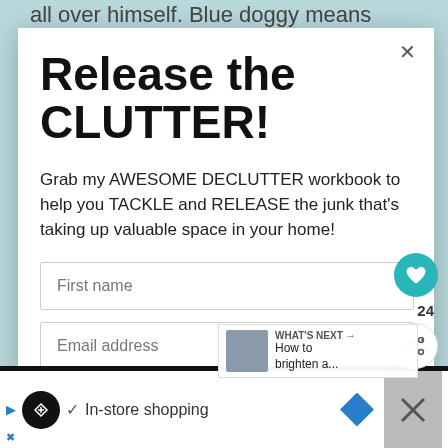all over himself. Blue doggy means
Release the CLUTTER!
Grab my AWESOME DECLUTTER workbook to help you TACKLE and RELEASE the junk that's taking up valuable space in your home!
First name
Email address
WHAT'S NEXT → How to brighten a...
✓ In-store shopping